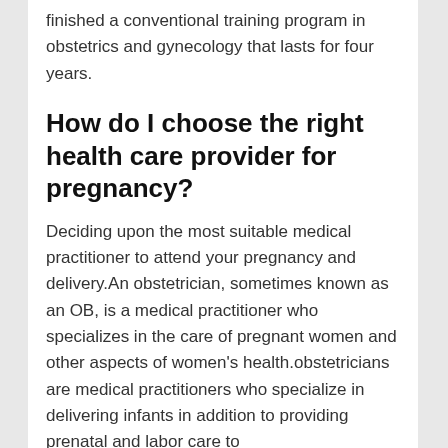finished a conventional training program in obstetrics and gynecology that lasts for four years.
How do I choose the right health care provider for pregnancy?
Deciding upon the most suitable medical practitioner to attend your pregnancy and delivery.An obstetrician, sometimes known as an OB, is a medical practitioner who specializes in the care of pregnant women and other aspects of women's health.obstetricians are medical practitioners who specialize in delivering infants in addition to providing prenatal and labor care to